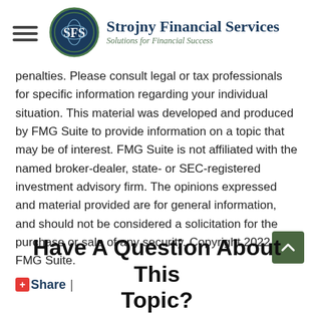Strojny Financial Services — Solutions for Financial Success
penalties. Please consult legal or tax professionals for specific information regarding your individual situation. This material was developed and produced by FMG Suite to provide information on a topic that may be of interest. FMG Suite is not affiliated with the named broker-dealer, state- or SEC-registered investment advisory firm. The opinions expressed and material provided are for general information, and should not be considered a solicitation for the purchase or sale of any security. Copyright 2022 FMG Suite.
Share |
Have A Question About This Topic?